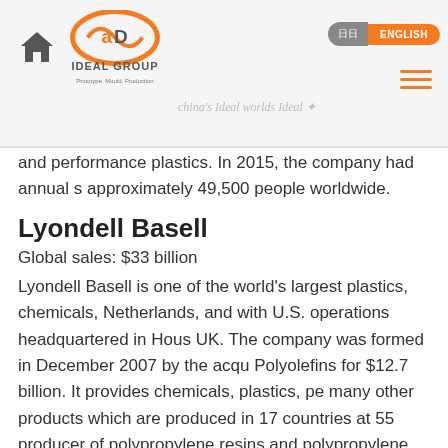Ideal Group — china's Ideal worlds Ideal
and performance plastics. In 2015, the company had annual s approximately 49,500 people worldwide.
Lyondell Basell
Global sales: $33 billion
Lyondell Basell is one of the world's largest plastics, chemicals, Netherlands, and with U.S. operations headquartered in Hous UK. The company was formed in December 2007 by the acqu Polyolefins for $12.7 billion. It provides chemicals, plastics, pe many other products which are produced in 17 countries at 55 producer of polypropylene resins and polypropylene compoun polyethylene. It is also a major producer of high-value specialt annual sales of nearly $33 billion¹ and employed approximate